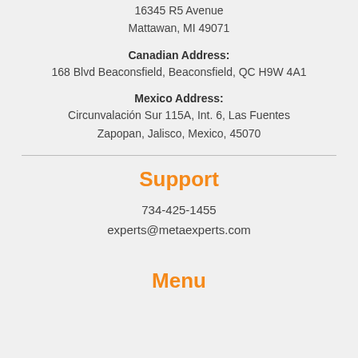16345 R5 Avenue
Mattawan, MI 49071
Canadian Address:
168 Blvd Beaconsfield, Beaconsfield, QC H9W 4A1
Mexico Address:
Circunvalación Sur 115A, Int. 6, Las Fuentes
Zapopan, Jalisco, Mexico, 45070
Support
734-425-1455
experts@metaexperts.com
Menu